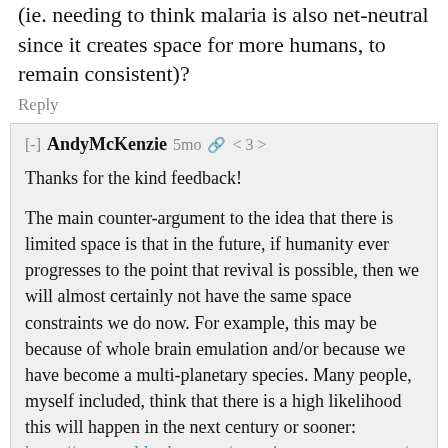(ie. needing to think malaria is also net-neutral since it creates space for more humans, to remain consistent)?
Reply
[-] AndyMcKenzie 5mo 🔗 < 3 >
Thanks for the kind feedback!
The main counter-argument to the idea that there is limited space is that in the future, if humanity ever progresses to the point that revival is possible, then we will almost certainly not have the same space constraints we do now. For example, this may be because of whole brain emulation and/or because we have become a multi-planetary species. Many people, myself included, think that there is a high likelihood this will happen in the next century or sooner: https://www.cold-takes.com/most-important-century/
There is also an argument that we actually do not have limited space or resources on the planet now. For example, this was explained by Julian Simon: